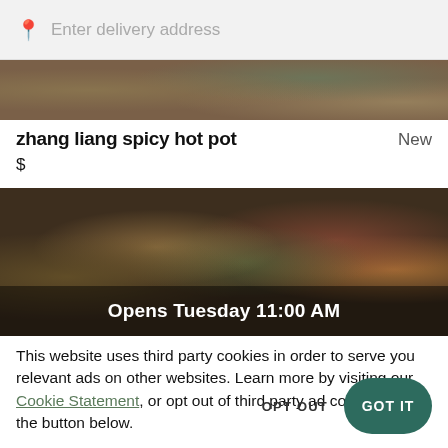Enter delivery address
zhang liang spicy hot pot
New
$
[Figure (photo): Food photo with overlay text reading 'Opens Tuesday 11:00 AM']
This website uses third party cookies in order to serve you relevant ads on other websites. Learn more by visiting our Cookie Statement, or opt out of third party ad cookies using the button below.
OPT OUT
GOT IT